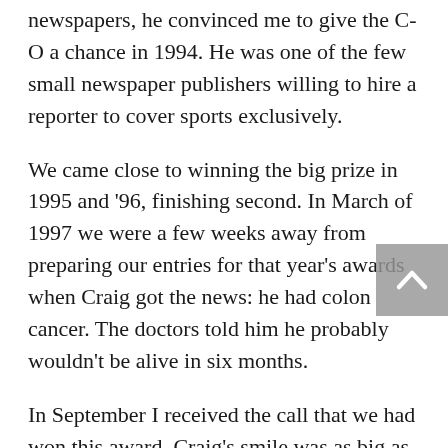newspapers, he convinced me to give the C-O a chance in 1994. He was one of the few small newspaper publishers willing to hire a reporter to cover sports exclusively.
We came close to winning the big prize in 1995 and '96, finishing second. In March of 1997 we were a few weeks away from preparing our entries for that year's awards when Craig got the news: he had colon cancer. The doctors told him he probably wouldn't be alive in six months.
In September I received the call that we had won this award. Craig's smile was as big as ever when I told him. Lying in the hospital bed that had been moved inside his home office, he said, "We did it." He congratulated me and shook my hand.